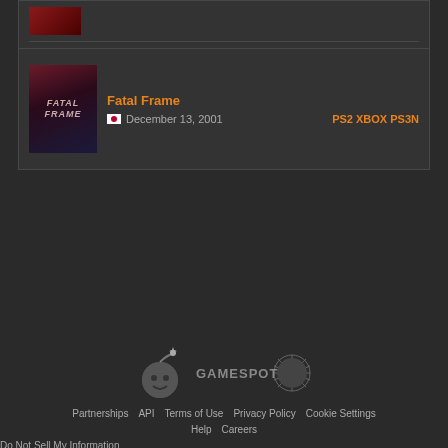[Figure (screenshot): Top partial game card showing a red game cover thumbnail]
Fatal Frame
December 13, 2001
PS2 XBOX PS3N
[Figure (logo): Giant Bomb character logo and GameSpot logo side by side]
Partnerships  API  Terms of Use  Privacy Policy  Cookie Settings
Help  Careers
Do Not Sell My Information
[Figure (illustration): Social media icons: Facebook, Twitter, Instagram, YouTube, RSS]
© 2022 GIANT BOMB, A RED VENTURES COMPANY. ALL RIGHTS RESERVED.